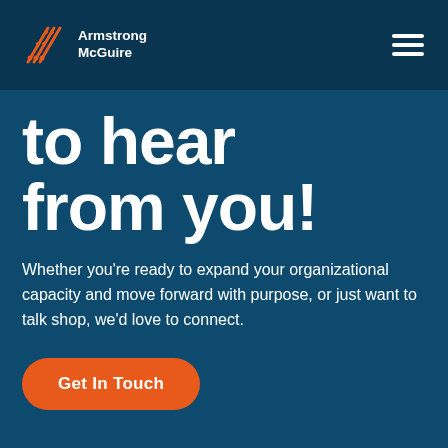[Figure (logo): Armstrong McGuire logo with orange arrow/lines graphic and white text reading Armstrong McGuire]
[Figure (other): Hamburger menu icon with three white horizontal lines on dark blue background]
to hear from you!
Whether you’re ready to expand your organizational capacity and move forward with purpose, or just want to talk shop, we’d love to connect.
Get In Touch